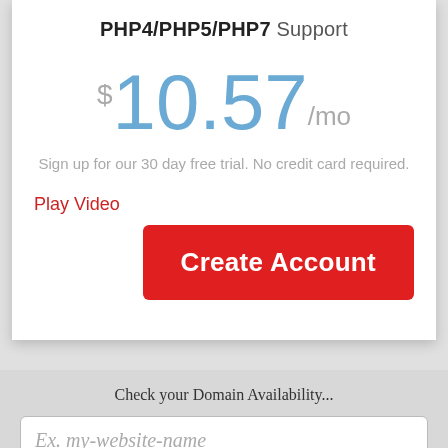PHP4/PHP5/PHP7 Support
$10.57/mo
Sign up for our 30 day free trial. No credit card required.
Play Video
Create Account
Check your Domain Availability...
Ex. my-website-name
.com
GO